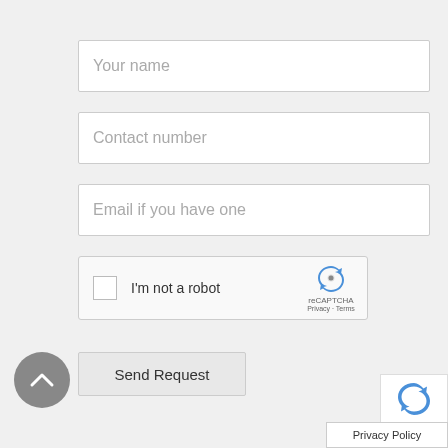Your name
Contact number
Email if you have one
[Figure (screenshot): reCAPTCHA widget with checkbox labeled 'I'm not a robot' and reCAPTCHA logo with Privacy and Terms links]
Send Request
[Figure (other): Grey circular scroll-to-top button with upward chevron arrow]
[Figure (logo): reCAPTCHA logo in corner]
Privacy Policy